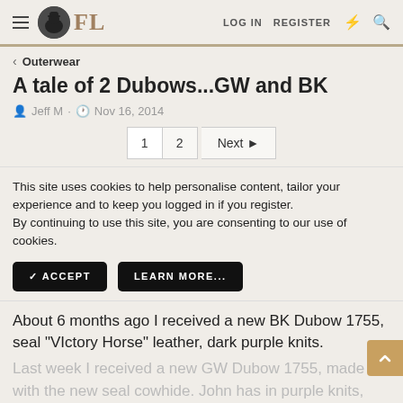FL — LOG IN  REGISTER
Outerwear
A tale of 2 Dubows...GW and BK
Jeff M · Nov 16, 2014
1  2  Next
This site uses cookies to help personalise content, tailor your experience and to keep you logged in if you register. By continuing to use this site, you are consenting to our use of cookies.
✓ ACCEPT    LEARN MORE...
About 6 months ago I received a new BK Dubow 1755, seal "Victory Horse" leather, dark purple knits.
Last week I received a new GW Dubow 1755, made with the new seal cowhide. John has in purple knits,